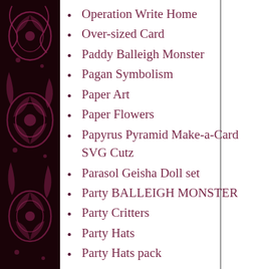Operation Write Home
Over-sized Card
Paddy Balleigh Monster
Pagan Symbolism
Paper Art
Paper Flowers
Papyrus Pyramid Make-a-Card SVG Cutz
Parasol Geisha Doll set
Party BALLEIGH MONSTER
Party Critters
Party Hats
Party Hats pack
Peacock Themed Projects
Pearl Balleigh MerMonster